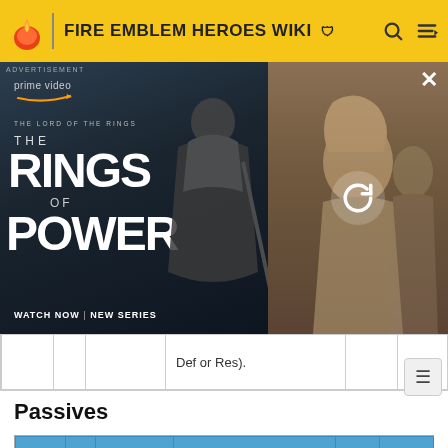FIRE EMBLEM HEROES WIKI
[Figure (screenshot): Amazon Prime Video advertisement for The Lord of the Rings: The Rings of Power. Left side shows title text and a hooded figure. Right side shows a partially loaded image with reload icon.]
|  |  | Def or Res). |  |  |
Passives
| Type |  | Name | Description | SP | Unlock |
| --- | --- | --- | --- | --- | --- |
| A | ● | Armored Blow 1 | If unit initiates combat, grants Def+2 | 50 | 3 ★ |